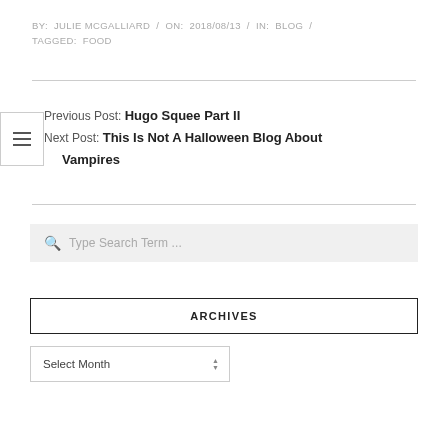BY: JULIE MCGALLIARD / ON: 2018/08/13 / IN: BLOG / TAGGED: FOOD
Previous Post: Hugo Squee Part II
Next Post: This Is Not A Halloween Blog About Vampires
Type Search Term ...
ARCHIVES
Select Month